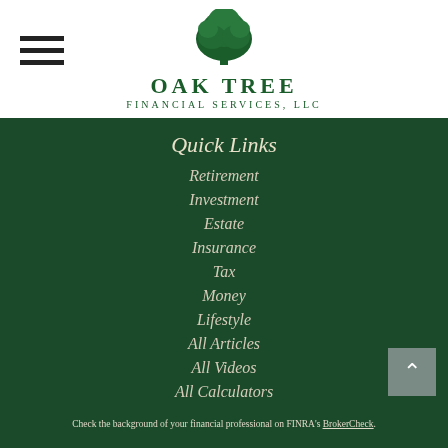[Figure (logo): Oak Tree Financial Services, LLC logo with tree icon and company name]
Quick Links
Retirement
Investment
Estate
Insurance
Tax
Money
Lifestyle
All Articles
All Videos
All Calculators
All Presentations
Check the background of your financial professional on FINRA's BrokerCheck.